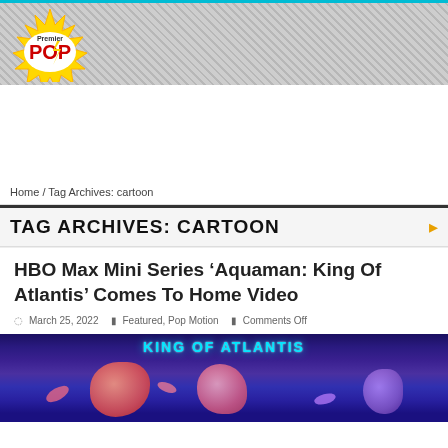[Figure (logo): Premier Pop logo with starburst design, red POP text and yellow lightning bolt]
Home / Tag Archives: cartoon
TAG ARCHIVES: CARTOON
HBO Max Mini Series ‘Aquaman: King Of Atlantis’ Comes To Home Video
March 25, 2022   Featured, Pop Motion   Comments Off
[Figure (photo): Colorful animated illustration showing KING OF ATLANTIS text with cartoon characters below on a dark blue/purple background]